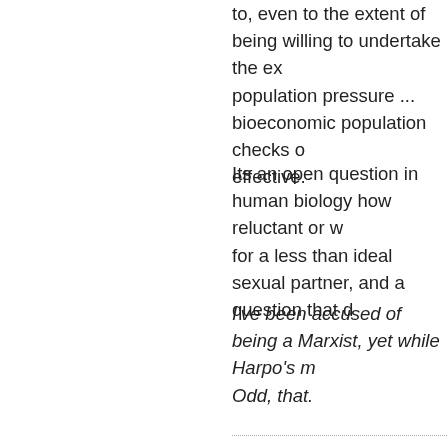to, even to the extent of being willing to undertake the ex... population pressure ... bioeconomic population checks o... effective.
Its an open question in human biology how reluctant or w... for a less than ideal sexual partner, and a question that d...
I've been accused of being a Marxist, yet while Harpo's m... Odd, that.
by BruceMcF (agila61 at netscape dot net) on Mon Jun 29th, 2015 at 09:25...
[ Parent ]
Re: Yap essence of money (none / 0)
The "not very effective population checks" are a clear... unprecedented technological-medical progress and u... the population was generally growing exponentially inc... the progress be taken for granted? We are just enterin... analysis of them.
Some 300 years of the industrial progress is very little...